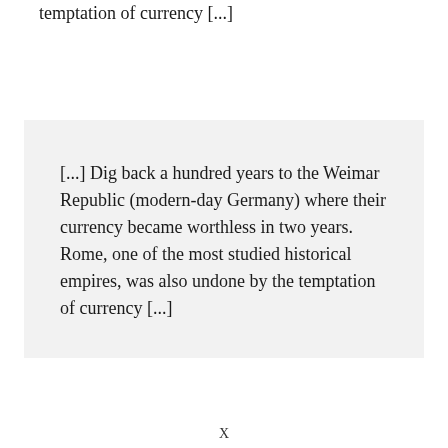temptation of currency [...]
[...] Dig back a hundred years to the Weimar Republic (modern-day Germany) where their currency became worthless in two years. Rome, one of the most studied historical empires, was also undone by the temptation of currency [...]
X